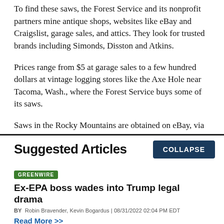To find these saws, the Forest Service and its nonprofit partners mine antique shops, websites like eBay and Craigslist, garage sales, and attics. They look for trusted brands including Simonds, Disston and Atkins.
Prices range from $5 at garage sales to a few hundred dollars at vintage logging stores like the Axe Hole near Tacoma, Wash., where the Forest Service buys some of its saws.
Saws in the Rocky Mountains are obtained on eBay, via
Suggested Articles
COLLAPSE
GREENWIRE
Ex-EPA boss wades into Trump legal drama
BY Robin Bravender, Kevin Bogardus | 08/31/2022 02:04 PM EDT
Read More >>
GREENWIRE
Audit uncovers staffing, morale woes at key USGS water lab